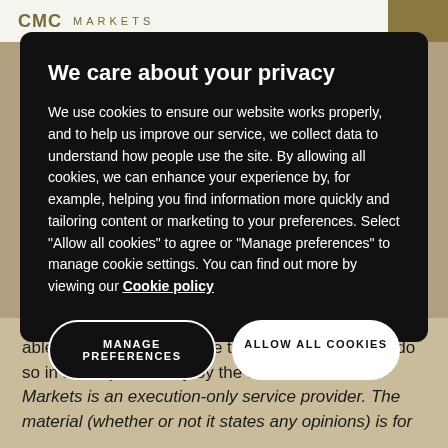CMC MARKETS
We care about your privacy
We use cookies to ensure our website works properly, and to help us improve our service, we collect data to understand how people use the site. By allowing all cookies, we can enhance your experience by, for example, helping you find information more quickly and tailoring content or marketing to your preferences. Select “Allow all cookies” to agree or “Manage preferences” to manage cookie settings. You can find out more by viewing our Cookie policy
MANAGE PREFERENCES
ALLOW ALL COOKIES
able to get some exposure to digital assets – and do so in a competent way by the disclaimer: CMC Markets is an execution-only service provider. The material (whether or not it states any opinions) is for